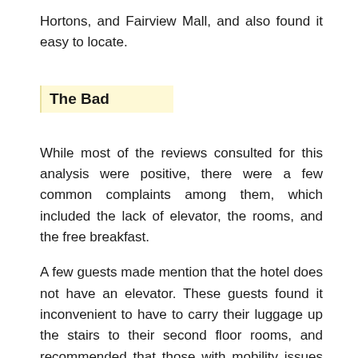Hortons, and Fairview Mall, and also found it easy to locate.
The Bad
While most of the reviews consulted for this analysis were positive, there were a few common complaints among them, which included the lack of elevator, the rooms, and the free breakfast.
A few guests made mention that the hotel does not have an elevator. These guests found it inconvenient to have to carry their luggage up the stairs to their second floor rooms, and recommended that those with mobility issues book rooms on the first floor.
Although most reviewers were pleased with their accommodations, some guests were not satisfied and said the rooms were small, carpets and mattresses